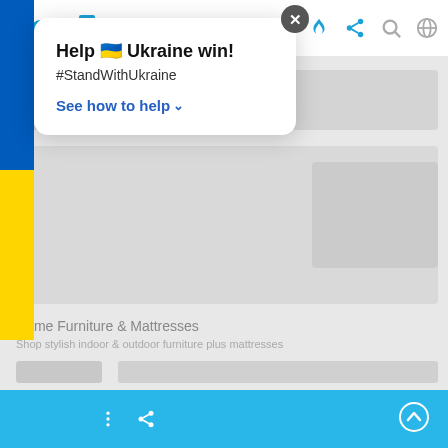SIOTOF
[Figure (screenshot): Ukraine flag sidebar (blue top, yellow bottom) on left edge]
Help 🇺🇦 Ukraine win!
#StandWithUkraine
See how to help ˅
Home Furniture & Mattresses
Shop stylish indoor & outdoor furniture plus mattresses
Bottom navigation bar with menu, share, and scroll-to-top icons